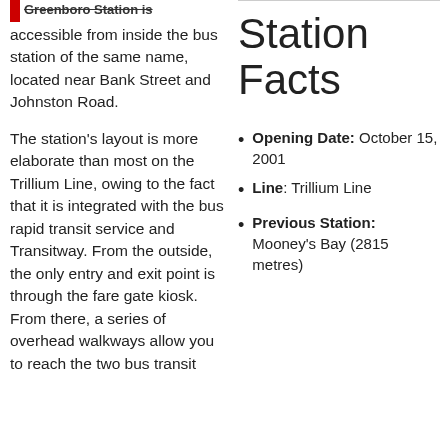Greenboro Station is accessible from inside the bus station of the same name, located near Bank Street and Johnston Road.
The station's layout is more elaborate than most on the Trillium Line, owing to the fact that it is integrated with the bus rapid transit service and Transitway. From the outside, the only entry and exit point is through the fare gate kiosk. From there, a series of overhead walkways allow you to reach the two bus transit
Station Facts
Opening Date: October 15, 2001
Line: Trillium Line
Previous Station: Mooney's Bay (2815 metres)